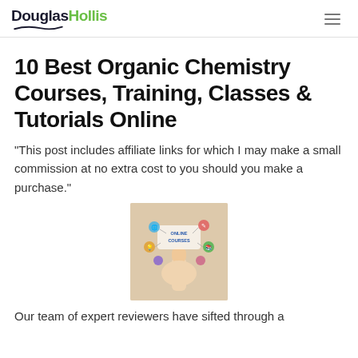DouglasHollis
10 Best Organic Chemistry Courses, Training, Classes & Tutorials Online
"This post includes affiliate links for which I may make a small commission at no extra cost to you should you make a purchase."
[Figure (photo): Hand pointing upward with icons representing online courses floating above it, including globe, person, lightbulb, pencil, and other educational symbols, with text 'ONLINE COURSES' in the center]
Our team of expert reviewers have sifted through a